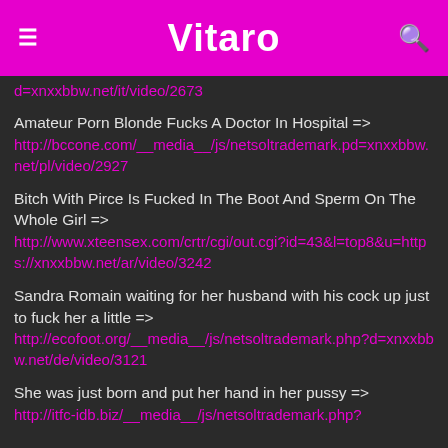Vitaro
d=xnxxbbw.net/it/video/2673
Amateur Porn Blonde Fucks A Doctor In Hospital => http://bccone.com/__media__/js/netsoltrademark.pd=xnxxbbw.net/pl/video/2927
Bitch With Pirce Is Fucked In The Boot And Sperm On The Whole Girl => http://www.xteensex.com/crtr/cgi/out.cgi?id=43&l=top8&u=https://xnxxbbw.net/ar/video/3242
Sandra Romain waiting for her husband with his cock up just to fuck her a little => http://ecofoot.org/__media__/js/netsoltrademark.php?d=xnxxbbw.net/de/video/3121
She was just born and put her hand in her pussy => http://itfc-idb.biz/__media__/js/netsoltrademark.php?